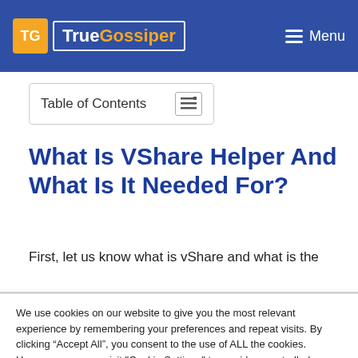TrueGossiper | Menu
Table of Contents
What Is VShare Helper And What Is It Needed For?
First, let us know what is vShare and what is the
We use cookies on our website to give you the most relevant experience by remembering your preferences and repeat visits. By clicking “Accept All”, you consent to the use of ALL the cookies. However, you may visit "Cookie Settings" to provide a controlled consent.